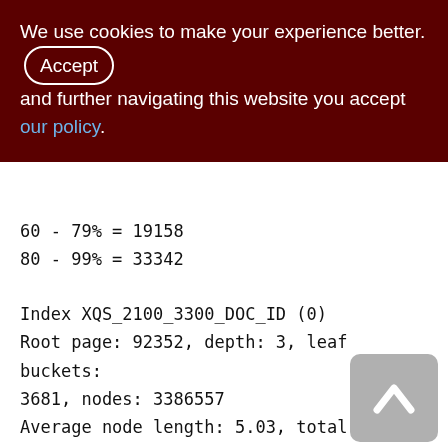We use cookies to make your experience better. By accepting and further navigating this website you accept our policy.
60 - 79% = 19158
80 - 99% = 33342

Index XQS_2100_3300_DOC_ID (0)
Root page: 92352, depth: 3, leaf buckets: 3681, nodes: 3386557
Average node length: 5.03, total dup: 3369615, max dup: 1267
Average key length: 2.05, compression ratio: 4.40
Average prefix length: 8.96, average data length: 0.04
Clustering factor: 729296, ratio: 0.22